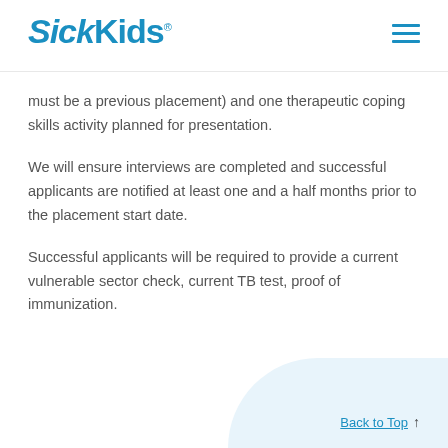SickKids
must be a previous placement) and one therapeutic coping skills activity planned for presentation.
We will ensure interviews are completed and successful applicants are notified at least one and a half months prior to the placement start date.
Successful applicants will be required to provide a current vulnerable sector check, current TB test, proof of immunization.
Back to Top ↑